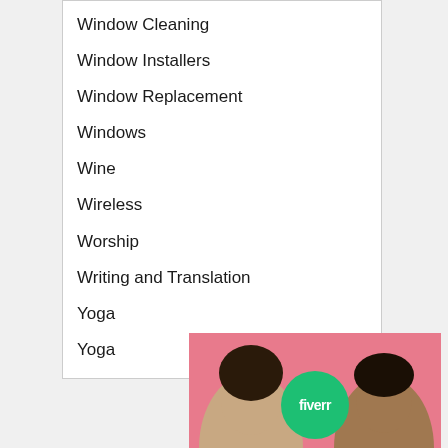Window Cleaning
Window Installers
Window Replacement
Windows
Wine
Wireless
Worship
Writing and Translation
Yoga
Yoga
[Figure (photo): Fiverr advertisement banner showing a man and woman smiling with a green Fiverr logo circle in the center, pink background]